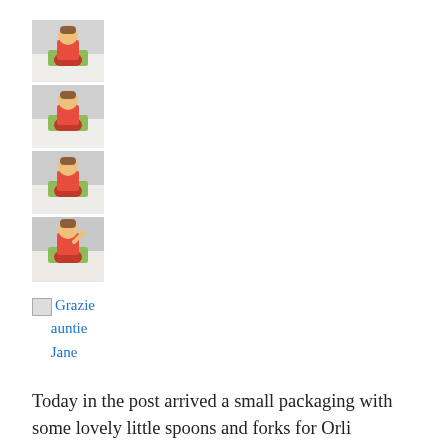[Figure (photo): A vertical strip of four photos showing a young child in a red bib sitting at a table with a green plate, photographed in sequence.]
[Figure (photo): Small image placeholder icon followed by the linked text 'Grazie auntie Jane' in blue hyperlink style.]
Today in the post arrived a small packaging with some lovely little spoons and forks for Orli